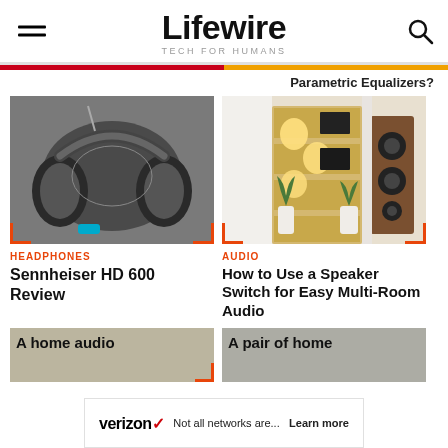Lifewire TECH FOR HUMANS
Parametric Equalizers?
[Figure (photo): Close-up photo of Sennheiser HD 600 over-ear headphones on a gray surface]
HEADPHONES
Sennheiser HD 600 Review
[Figure (photo): Living room with bookshelf speakers, wood shelving unit with lights and plants]
AUDIO
How to Use a Speaker Switch for Easy Multi-Room Audio
[Figure (photo): A home audio setup thumbnail]
[Figure (photo): A pair of home speakers thumbnail]
[Figure (advertisement): Verizon ad banner: Not all networks are... Learn more]